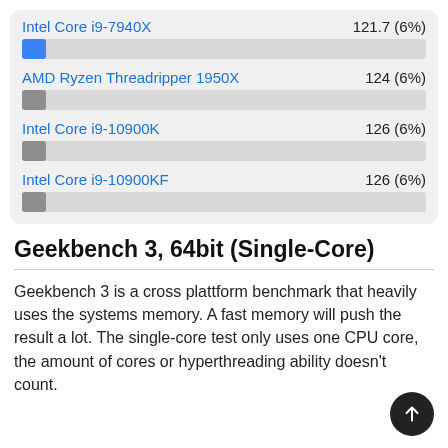[Figure (bar-chart): CPU Benchmark Comparison]
Geekbench 3, 64bit (Single-Core)
Geekbench 3 is a cross plattform benchmark that heavily uses the systems memory. A fast memory will push the result a lot. The single-core test only uses one CPU core, the amount of cores or hyperthreading ability doesn't count.